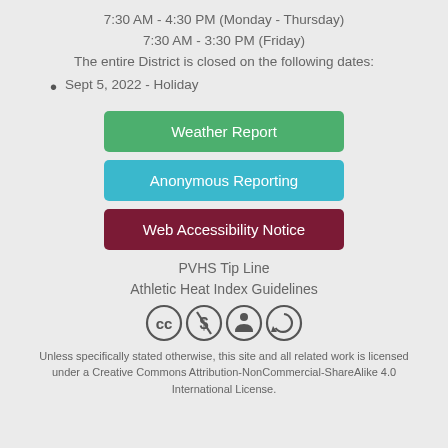7:30 AM - 4:30 PM (Monday - Thursday)
7:30 AM - 3:30 PM (Friday)
The entire District is closed on the following dates:
Sept 5, 2022 - Holiday
Weather Report
Anonymous Reporting
Web Accessibility Notice
PVHS Tip Line
Athletic Heat Index Guidelines
[Figure (illustration): Creative Commons license icons: CC, NC, BY, SA]
Unless specifically stated otherwise, this site and all related work is licensed under a Creative Commons Attribution-NonCommercial-ShareAlike 4.0 International License.